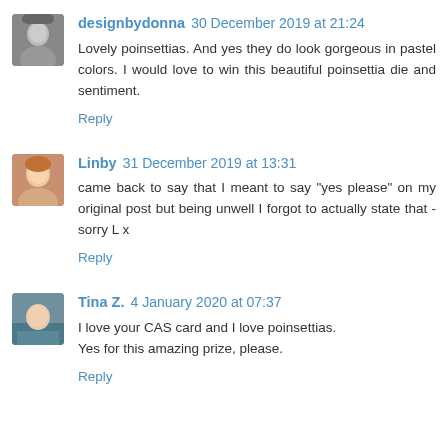designbydonna 30 December 2019 at 21:24
Lovely poinsettias. And yes they do look gorgeous in pastel colors. I would love to win this beautiful poinsettia die and sentiment.
Reply
Linby 31 December 2019 at 13:31
came back to say that I meant to say "yes please" on my original post but being unwell I forgot to actually state that - sorry L x
Reply
Tina Z. 4 January 2020 at 07:37
I love your CAS card and I love poinsettias.
Yes for this amazing prize, please.
Reply